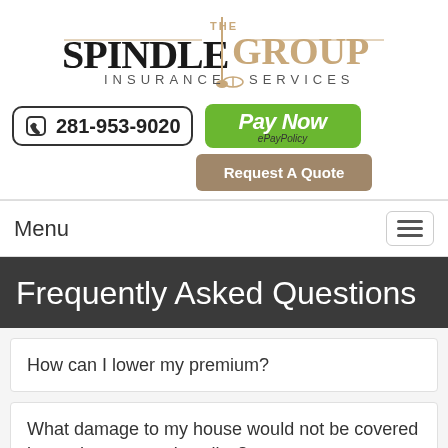[Figure (logo): The Spindle Group Insurance Services logo with decorative pin/spindle graphic]
281-953-9020
[Figure (other): Pay Now button with ePayPolicy branding, green background]
[Figure (other): Request A Quote button, tan/brown background]
Menu
Frequently Asked Questions
How can I lower my premium?
What damage to my house would not be covered by my homeowner's policy?